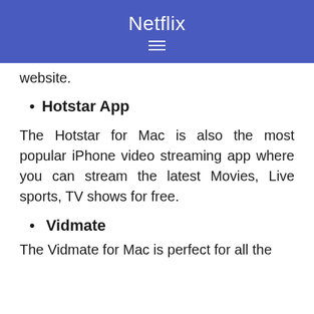Netflix
website.
Hotstar App
The Hotstar for Mac is also the most popular iPhone video streaming app where you can stream the latest Movies, Live sports, TV shows for free.
Vidmate
The Vidmate for Mac is perfect for all the